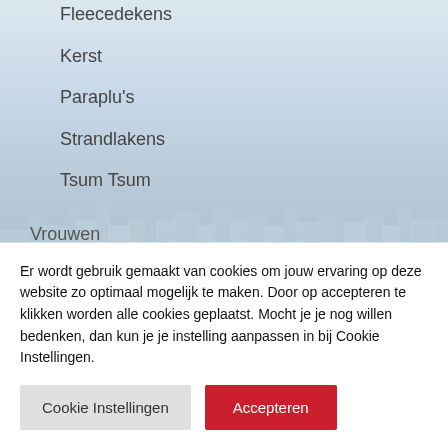[Figure (photo): Faded city skyline background with light blue-grey sky and buildings silhouette]
Fleecedekens
Kerst
Paraplu's
Strandlakens
Tsum Tsum
Vrouwen
Sokken
Pyjama's
Shirts
Slippers
Er wordt gebruik gemaakt van cookies om jouw ervaring op deze website zo optimaal mogelijk te maken. Door op accepteren te klikken worden alle cookies geplaatst. Mocht je je nog willen bedenken, dan kun je je instelling aanpassen in bij Cookie Instellingen.
Cookie Instellingen   Accepteren